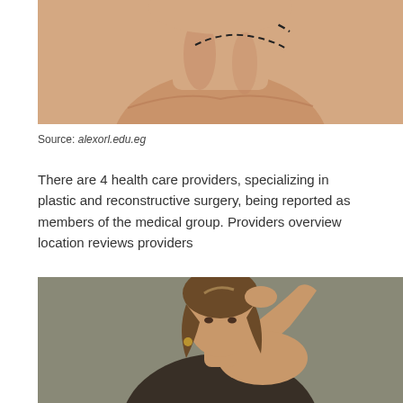[Figure (photo): Close-up of a person's neck and lower face area with surgical dashed marker lines drawn on the skin, indicating a plastic surgery procedure area.]
Source: alexorl.edu.eg
There are 4 health care providers, specializing in plastic and reconstructive surgery, being reported as members of the medical group. Providers overview location reviews providers
[Figure (photo): Portrait photo of a woman with wavy brown hair, wearing a black outfit, with one hand raised to her hair, posed against a neutral gray-green background.]